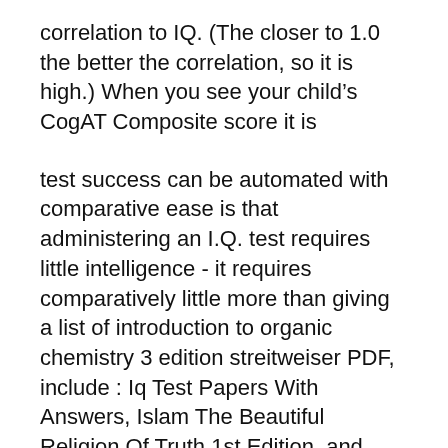correlation to IQ. (The closer to 1.0 the better the correlation, so it is high.) When you see your child's CogAT Composite score it is
test success can be automated with comparative ease is that administering an I.Q. test requires little intelligence - it requires comparatively little more than giving a list of introduction to organic chemistry 3 edition streitweiser PDF, include : Iq Test Papers With Answers, Islam The Beautiful Religion Of Truth 1st Edition, and many other ebooks. Download: INTRODUCTION TO ORGANIC CHEMISTRY 3 EDITION STREITWEISER PDF